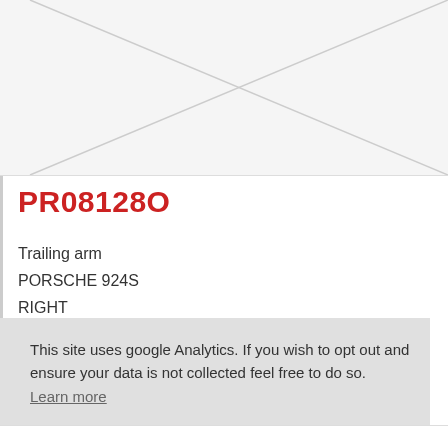[Figure (other): Image placeholder with diagonal X lines on light grey background]
PR08128O
Trailing arm
PORSCHE 924S
RIGHT
This site uses google Analytics. If you wish to opt out and ensure your data is not collected feel free to do so. Learn more
Refuse Cookies   Allow Cookies